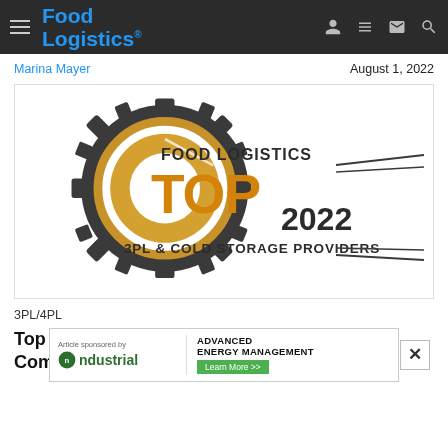Food Logistics
Marina Mayer	August 1, 2022
[Figure (logo): Food Logistics TOP 2022 3PL & Cold Storage Providers award logo — gear/cog design with gold circle and bold orange TOP text]
3PL/4PL
Top 3PL & Cold Storage Providers Award: E-Commerce, Nearshoring of Services
[Figure (other): Advertisement banner: Article sponsored by ndustrial — ADVANCED ENERGY MANAGEMENT Learn More >>]